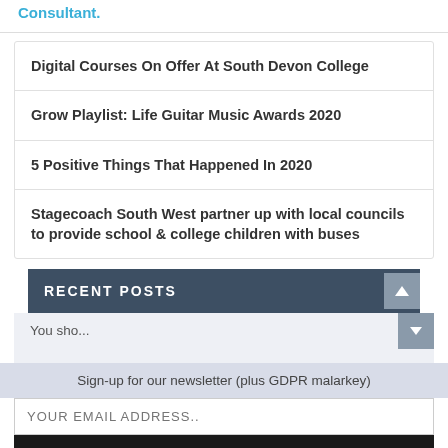Consultant.
Digital Courses On Offer At South Devon College
Grow Playlist: Life Guitar Music Awards 2020
5 Positive Things That Happened In 2020
Stagecoach South West partner up with local councils to provide school & college children with buses
RECENT POSTS
Sign-up for our newsletter (plus GDPR malarkey)
YOUR EMAIL ADDRESS..
SUBSCRIBE